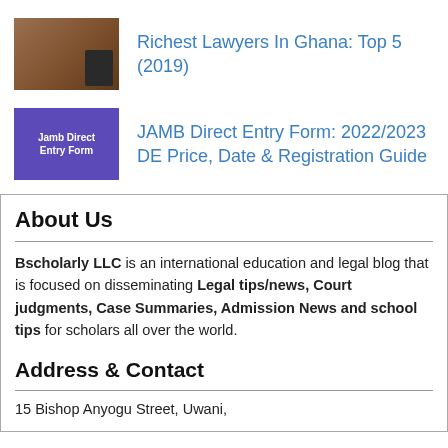Richest Lawyers In Ghana: Top 5 (2019)
JAMB Direct Entry Form: 2022/2023 DE Price, Date & Registration Guide
About Us
Bscholarly LLC is an international education and legal blog that is focused on disseminating Legal tips/news, Court judgments, Case Summaries, Admission News and school tips for scholars all over the world.
Address & Contact
15 Bishop Anyogu Street, Uwani,